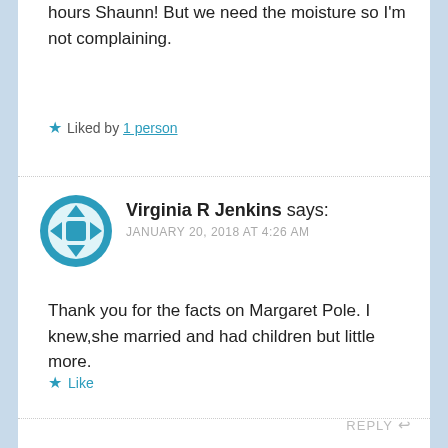hours Shaunn! But we need the moisture so I'm not complaining.
Liked by 1 person
Virginia R Jenkins says: JANUARY 20, 2018 AT 4:26 AM
Thank you for the facts on Margaret Pole. I knew,she married and had children but little more.
Like
REPLY